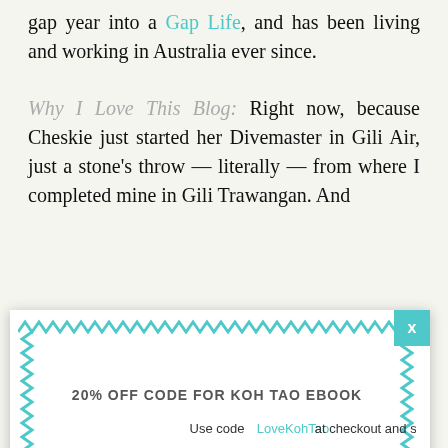gap year into a Gap Life, and has been living and working in Australia ever since.
Why I Love This Blog: Right now, because Cheskie just started her Divemaster in Gili Air, just a stone's throw — literally — from where I completed mine in Gili Trawangan. And
[Figure (infographic): Popup advertisement with zigzag teal border and close button. Heading: '20% OFF CODE FOR KOH TAO EBOOK'. Subtext: 'Use code LoveKohTao at checkout and save!']
[Figure (photo): Travel blog image showing a person in a hat by the sea with cursive text overlay reading 'you & me']
South
[Figure (infographic): Bottom advertisement bar with circular icon, checkmark, 'In-store shopping' text, and blue diamond navigation icon]